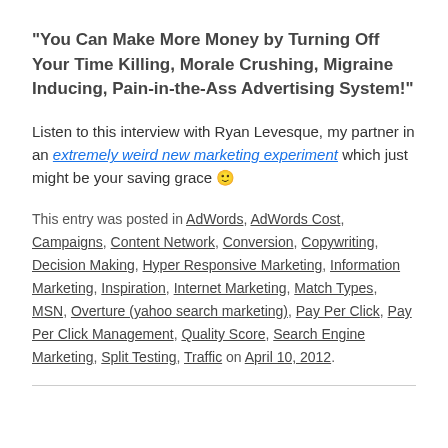“You Can Make More Money by Turning Off Your Time Killing, Morale Crushing, Migraine Inducing, Pain-in-the-Ass Advertising System!”
Listen to this interview with Ryan Levesque, my partner in an extremely weird new marketing experiment which just might be your saving grace 🙂
This entry was posted in AdWords, AdWords Cost, Campaigns, Content Network, Conversion, Copywriting, Decision Making, Hyper Responsive Marketing, Information Marketing, Inspiration, Internet Marketing, Match Types, MSN, Overture (yahoo search marketing), Pay Per Click, Pay Per Click Management, Quality Score, Search Engine Marketing, Split Testing, Traffic on April 10, 2012.